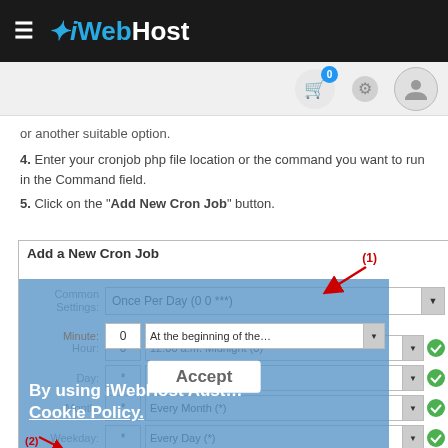iWebHost
or another suitable option.
4. Enter your cronjob php file location or the command you want to run in the Command field.
5. Click on the "Add New Cron Job" button.
[Figure (screenshot): Screenshot of cPanel Add a New Cron Job form showing Common Settings dropdown set to 'Once Per Day (0 0 ***)' with a red arrow pointing to it labeled (1). Fields shown: Minute, Hour, Day, Month, Weekday with dropdowns. A cookie consent overlay is partially covering the form with 'By using iWebHost Aust...' text, Cookie Policy link, and Accept button. Label (2) is at the bottom left.]